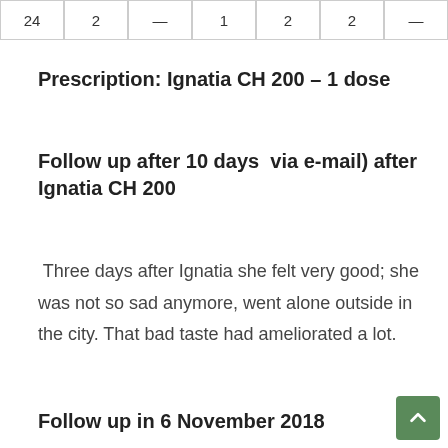| 24 | 2 | — | 1 | 2 | 2 | — |
Prescription: Ignatia CH 200 – 1 dose
Follow up after 10 days  via e-mail) after Ignatia CH 200
Three days after Ignatia she felt very good; she was not so sad anymore, went alone outside in the city. That bad taste had ameliorated a lot.
Follow up in 6 November 2018